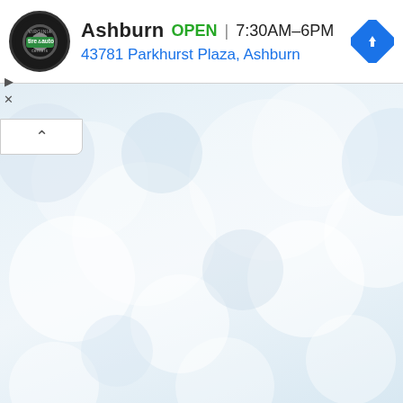[Figure (screenshot): Mobile map application screenshot showing a Virginia Tire & Auto location card for Ashburn. The card shows the store is OPEN with hours 7:30AM–6PM and address 43781 Parkhurst Plaza, Ashburn. Below the card is a blurred bokeh-style map background in light blue/white tones with a navigation-style directions icon.]